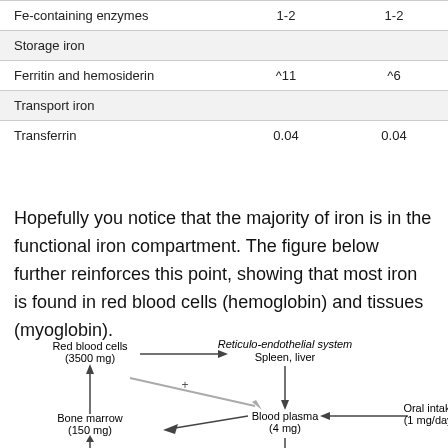| Fe-containing enzymes | 1-2 | 1-2 |
| Storage iron |  |  |
| Ferritin and hemosiderin | ~11 | ~6 |
| Transport iron |  |  |
| Transferrin | 0.04 | 0.04 |
Hopefully you notice that the majority of iron is in the functional iron compartment. The figure below further reinforces this point, showing that most iron is found in red blood cells (hemoglobin) and tissues (myoglobin).
[Figure (flowchart): Iron compartment flow diagram showing Red blood cells (3500 mg) -> Reticulo-endothelial system (Spleen, liver) -> Blood plasma (4 mg) <- Oral intake (1 mg/day); Blood plasma -> Bone marrow (150 mg) -> Red blood cells. A gray diagonal arrow from Red blood cells area points toward Blood plasma.]